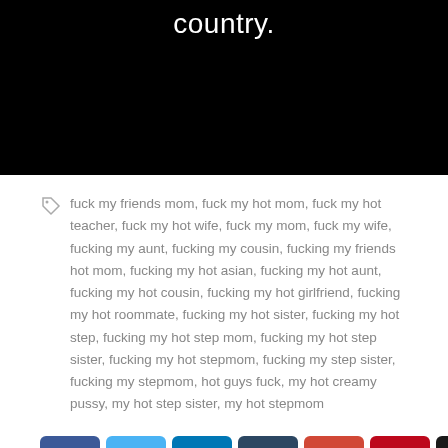[Figure (other): Black banner with white text reading 'country.']
fuck my friends mom, fuck my hot mom, fuck my hot teacher, fuck my hot wife, fuck my mom, fuck my wife, fucking my aunt, fucking my cousin, fucking my friends hot mom, fucking my hot asian, fucking my hot aunt, fucking my hot cousin, fucking my hot girlfriend, fucking my hot roommate, fucking my hot sister, fucking my hot step, fucking my hot step mom, fucking my hot step sister, fucking my hot stepmom, fucking my step sister, fucking my stepmom, hot guys fuck, my hot creamy pussy, my hot step sister, my hot stepmom
[Figure (infographic): Row of 8 social media share buttons: Facebook, Twitter, LinkedIn, Tumblr, Google+, Pinterest, VK, Email]
PREV